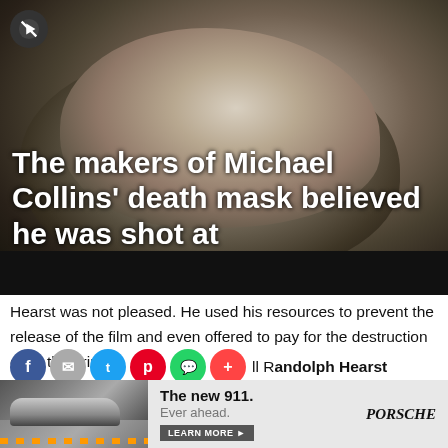[Figure (photo): Black and white photo of a death mask (Michael Collins), face in profile tilted upward, with white overlay text reading 'The makers of Michael Collins' death mask believed he was shot at']
Hearst was not pleased. He used his resources to prevent the release of the film and even offered to pay for the destruction of all the prints. [share icons] ll Randolph Hearst spent his remaining 10 years with decuning influence on his
[Figure (advertisement): Porsche 911 advertisement showing a car on a road with text 'The new 911. Ever ahead. LEARN MORE' and Porsche logo]